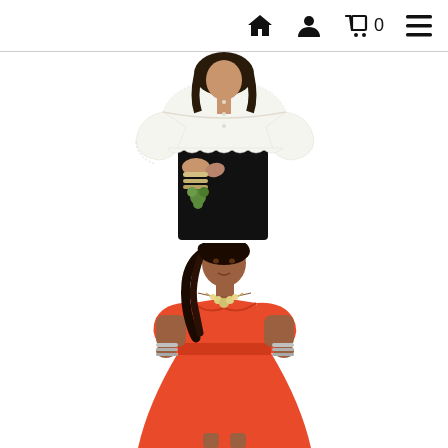navigation bar with home, user, cart (0), and menu icons
[Figure (photo): Woman wearing white off-shoulder lace top with black pants, holding a small bouquet, bracelets on wrist, back-facing pose]
[Figure (photo): Woman wearing orange/coral off-shoulder skater dress with silver necklace and bracelets, front-facing pose]